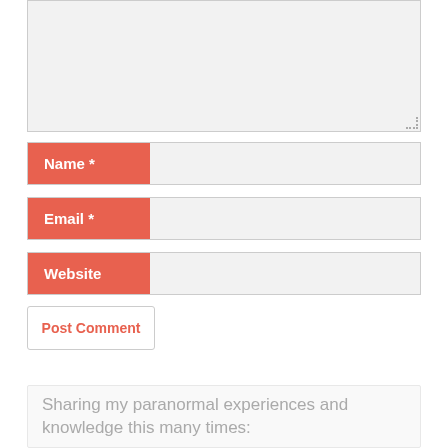[Figure (screenshot): Textarea input box (empty, resizable) for comment form]
Name *
Email *
Website
Post Comment
Sharing my paranormal experiences and knowledge this many times: